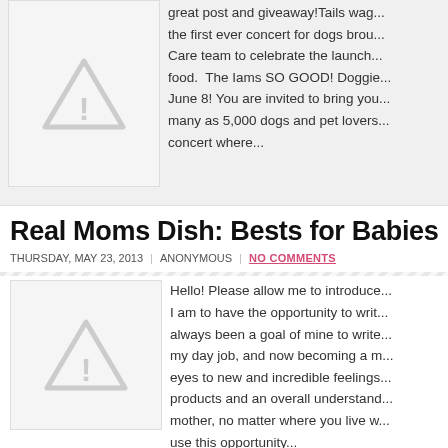[Figure (other): Placeholder image with warning triangle icon]
great post and giveaway! Tails wag... the first ever concert for dogs brou... Care team to celebrate the launch... food. The Iams SO GOOD! Doggie... June 8! You are invited to bring you... many as 5,000 dogs and pet lovers... concert where...
Real Moms Dish: Bests for Babies
THURSDAY, MAY 23, 2013 | ANONYMOUS | NO COMMENTS
[Figure (other): Placeholder image with warning triangle icon]
Hello! Please allow me to introduce... I am to have the opportunity to writ... always been a goal of mine to write... my day job, and now becoming a m... eyes to new and incredible feelings... products and an overall understand... mother, no matter where you live w... use this opportunity...